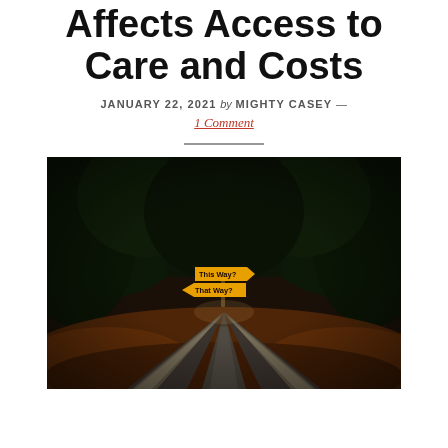Affects Access to Care and Costs
JANUARY 22, 2021 by MIGHTY CASEY — 1 Comment
[Figure (photo): A symmetrical forking road at night surrounded by dark forest with autumn leaves on the ground. In the center of the fork are two yellow directional signs reading 'This Way?' and 'That Way?'. The road curves left and right with light trails illuminating the paths.]